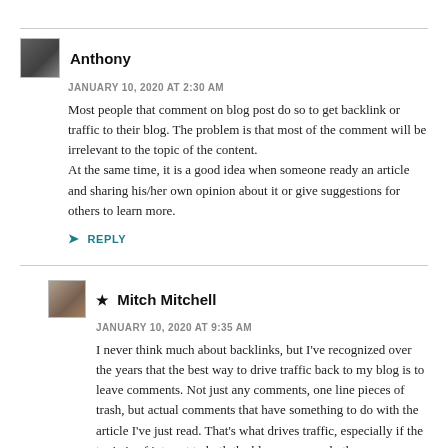Anthony
JANUARY 10, 2020 AT 2:30 AM
Most people that comment on blog post do so to get backlink or traffic to their blog. The problem is that most of the comment will be irrelevant to the topic of the content.
At the same time, it is a good idea when someone ready an article and sharing his/her own opinion about it or give suggestions for others to learn more.
➤ REPLY
★ Mitch Mitchell
JANUARY 10, 2020 AT 9:35 AM
I never think much about backlinks, but I've recognized over the years that the best way to drive traffic back to my blog is to leave comments. Not just any comments, one line pieces of trash, but actual comments that have something to do with the article I've just read. That's what drives traffic, especially if the topic is of interest to both the blog owner and other commenters.